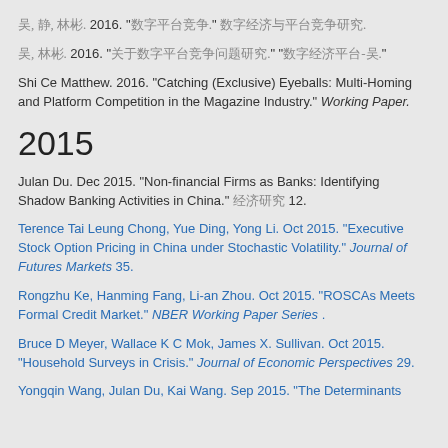吴, 静, 林彬. 2016. "数字平台竞争." 数字经济与平台竞争研究.
吴, 林彬. 2016. "关于数字平台竞争问题研究." "数字经济平台-吴."
Shi Ce Matthew. 2016. "Catching (Exclusive) Eyeballs: Multi-Homing and Platform Competition in the Magazine Industry." Working Paper.
2015
Julan Du. Dec 2015. "Non-financial Firms as Banks: Identifying Shadow Banking Activities in China." 经济研究 12.
Terence Tai Leung Chong, Yue Ding, Yong Li. Oct 2015. "Executive Stock Option Pricing in China under Stochastic Volatility." Journal of Futures Markets 35.
Rongzhu Ke, Hanming Fang, Li-an Zhou. Oct 2015. "ROSCAs Meets Formal Credit Market." NBER Working Paper Series .
Bruce D Meyer, Wallace K C Mok, James X. Sullivan. Oct 2015. "Household Surveys in Crisis." Journal of Economic Perspectives 29.
Yongqin Wang, Julan Du, Kai Wang. Sep 2015. "The Determinants...